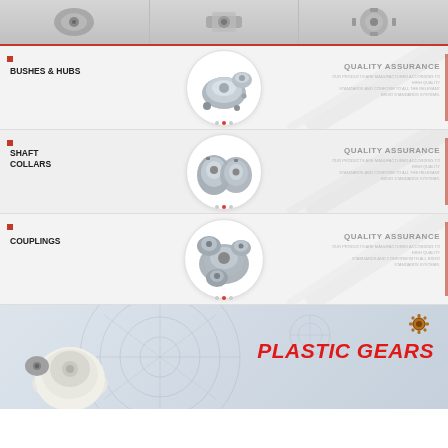[Figure (photo): Top row showing three mechanical parts (flanges/gears/sprockets) in grey boxes with red bottom border]
[Figure (photo): Bushes and Hubs section panel with circular photo of hub/bushing components and Quality Assurance text on right]
BUSHES & HUBS
QUALITY ASSURANCE
[Figure (photo): Shaft Collars section panel with circular photo of shaft collar components and Quality Assurance text on right]
SHAFT COLLARS
QUALITY ASSURANCE
[Figure (photo): Couplings section panel with circular photo of coupling components and Quality Assurance text on right]
COUPLINGS
QUALITY ASSURANCE
[Figure (photo): Bottom section showing plastic bevel gear photo on light blue engineering blueprint background with gear icon]
PLASTIC GEARS